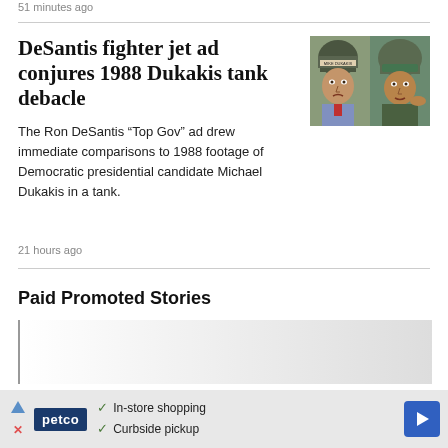51 minutes ago
DeSantis fighter jet ad conjures 1988 Dukakis tank debacle
[Figure (photo): Side-by-side photo of Michael Dukakis in a tank helmet (left) and Ron DeSantis in military flight gear (right)]
The Ron DeSantis “Top Gov” ad drew immediate comparisons to 1988 footage of Democratic presidential candidate Michael Dukakis in a tank.
21 hours ago
Paid Promoted Stories
[Figure (other): Paid promoted stories placeholder box with grey gradient background]
In-store shopping
Curbside pickup